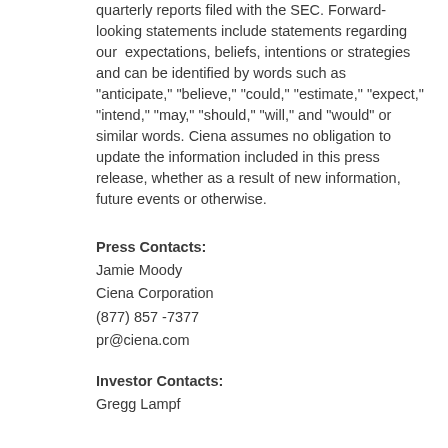quarterly reports filed with the SEC. Forward-looking statements include statements regarding our expectations, beliefs, intentions or strategies and can be identified by words such as "anticipate," "believe," "could," "estimate," "expect," "intend," "may," "should," "will," and "would" or similar words. Ciena assumes no obligation to update the information included in this press release, whether as a result of new information, future events or otherwise.
Press Contacts:
Jamie Moody
Ciena Corporation
(877) 857 -7377
pr@ciena.com
Investor Contacts:
Gregg Lampf